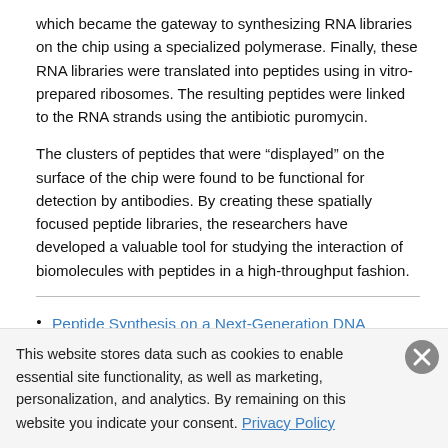which became the gateway to synthesizing RNA libraries on the chip using a specialized polymerase. Finally, these RNA libraries were translated into peptides using in vitro-prepared ribosomes. The resulting peptides were linked to the RNA strands using the antibiotic puromycin.
The clusters of peptides that were “displayed” on the surface of the chip were found to be functional for detection by antibodies. By creating these spatially focused peptide libraries, the researchers have developed a valuable tool for studying the interaction of biomolecules with peptides in a high-throughput fashion.
Peptide Synthesis on a Next-Generation DNA Sequencing Platform,
Alina Svensen, Olve B. Pearson, Samie B. Jeffrey...
This website stores data such as cookies to enable essential site functionality, as well as marketing, personalization, and analytics. By remaining on this website you indicate your consent. Privacy Policy